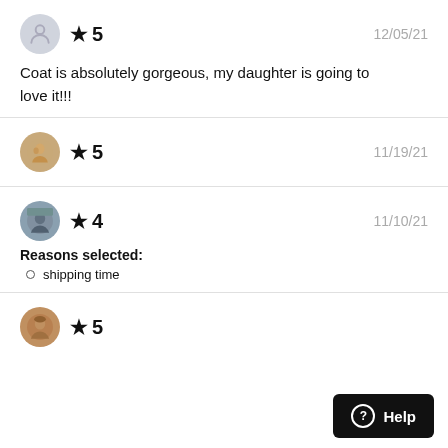★ 5   12/05/21
Coat is absolutely gorgeous, my daughter is going to love it!!!
★ 5   11/19/21
★ 4   11/10/21
Reasons selected:
• shipping time
★ 5